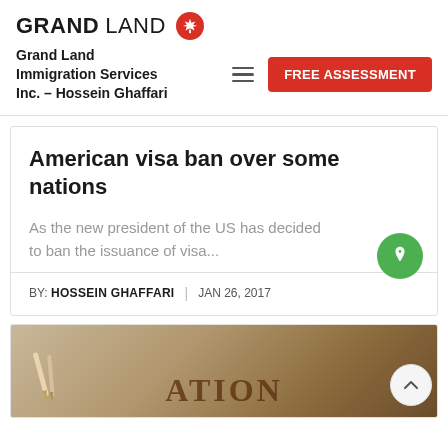GRAND LAND — Grand Land Immigration Services Inc. – Hossein Ghaffari
American visa ban over some nations
As the new president of the US has decided to ban the issuance of visa...
BY: HOSSEIN GHAFFARI | JAN 26, 2017
[Figure (photo): Partial view of a document or book with the word ATION visible, alongside pens on a wooden surface]